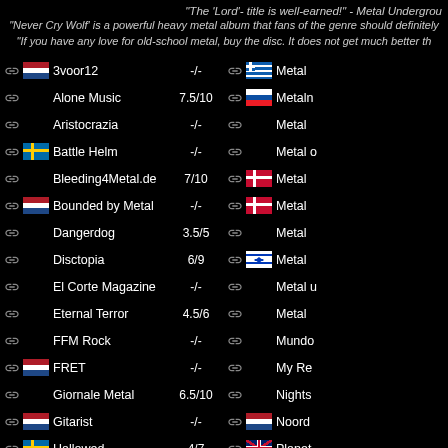"The 'Lord'- title is well-earned!" - Metal Underground
"Never Cry Wolf' is a powerful heavy metal album that fans of the genre should definitely
"If you have any love for old-school metal, buy the disc. It does not get much better th
3voor12  -/-
Alone Music  7.5/10
Aristocrazia  -/-
Battle Helm  -/-
Bleeding4Metal.de  7/10
Bounded by Metal  -/-
Dangerdog  3.5/5
Disctopia  6/9
El Corte Magazine  -/-
Eternal Terror  4.5/6
FFM Rock  -/-
FRET  -/-
Giornale Metal  6.5/10
Gitarist  -/-
Hallowed  4/7
Metal ...
Metaln...
Metal ...
Metal o...
Metal ...
Metal ...
Metal ...
Metal ...
Metal ...
Mundo...
My Re...
Nights...
Noord...
Planet...